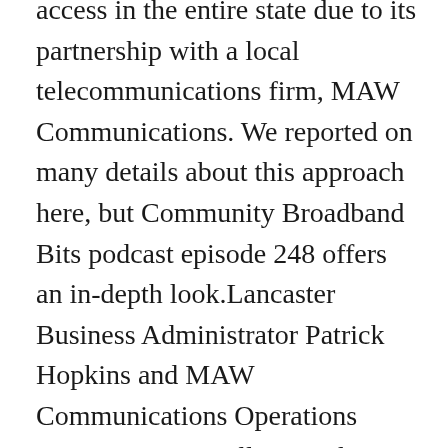access in the entire state due to its partnership with a local telecommunications firm, MAW Communications. We reported on many details about this approach here, but Community Broadband Bits podcast episode 248 offers an in-depth look.Lancaster Business Administrator Patrick Hopkins and MAW Communications Operations Director Brian Kelly joined me to talk about the history of their partnership and the next big step: a citywide gigabit fiber-optic network. We also talk about the risks to the public sector from trusting a private company with essential infrastructure and the potential challenges for a private sector company to work with a local government. Both sides are going into this